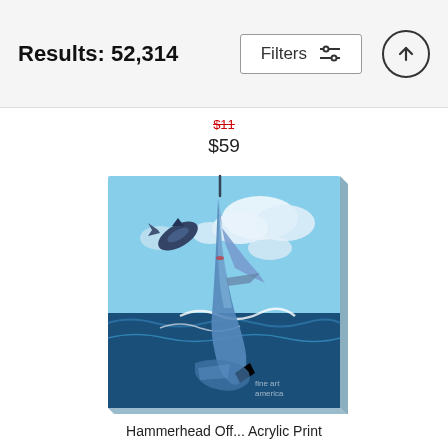Results: 52,314
Filters
$11
$59
[Figure (photo): Canvas painting of a sailfish leaping out of the ocean with another fish airborne in the background, blue sky with clouds, ocean waves below. Watermark reads 'fine art america' in bottom right corner.]
Hammerhead Off... Acrylic Print